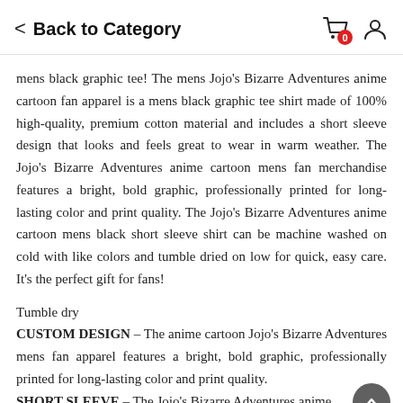Back to Category
mens black graphic tee! The mens Jojo's Bizarre Adventures anime cartoon fan apparel is a mens black graphic tee shirt made of 100% high-quality, premium cotton material and includes a short sleeve design that looks and feels great to wear in warm weather. The Jojo's Bizarre Adventures anime cartoon mens fan merchandise features a bright, bold graphic, professionally printed for long-lasting color and print quality. The Jojo's Bizarre Adventures anime cartoon mens black short sleeve shirt can be machine washed on cold with like colors and tumble dried on low for quick, easy care. It's the perfect gift for fans!
Tumble dry
CUSTOM DESIGN – The anime cartoon Jojo's Bizarre Adventures mens fan apparel features a bright, bold graphic, professionally printed for long-lasting color and print quality.
SHORT SLEEVE – The Jojo's Bizarre Adventures anime